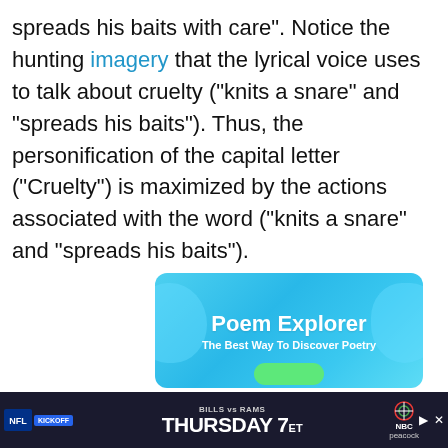spreads his baits with care". Notice the hunting imagery that the lyrical voice uses to talk about cruelty (“knits a snare” and “spreads his baits”). Thus, the personification of the capital letter (“Cruelty”) is maximized by the actions associated with the word (“knits a snare” and “spreads his baits”).
[Figure (other): Poem Explorer advertisement banner. Blue gradient background with decorative blobs. Title: 'Poem Explorer'. Subtitle: 'The Best Way To Discover Poetry'. Green button at bottom.]
[Figure (other): NFL advertisement banner. Dark background. NFL logo. KICKOFF badge. Text: 'BILLS vs RAMS THURSDAY 7ET'. NBC and Peacock logos.]